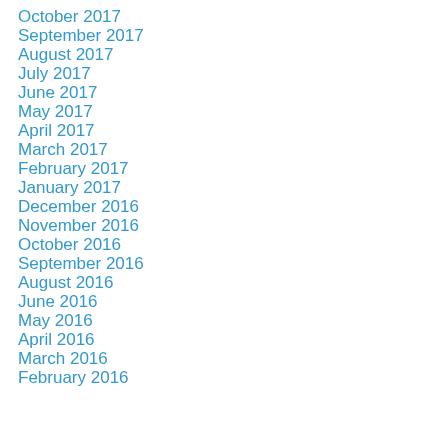October 2017
September 2017
August 2017
July 2017
June 2017
May 2017
April 2017
March 2017
February 2017
January 2017
December 2016
November 2016
October 2016
September 2016
August 2016
June 2016
May 2016
April 2016
March 2016
February 2016